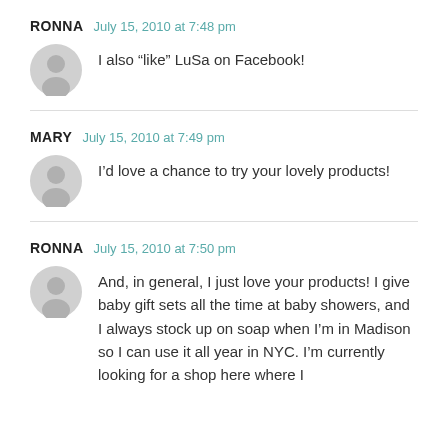RONNA   July 15, 2010 at 7:48 pm
I also “like” LuSa on Facebook!
MARY   July 15, 2010 at 7:49 pm
I’d love a chance to try your lovely products!
RONNA   July 15, 2010 at 7:50 pm
And, in general, I just love your products! I give baby gift sets all the time at baby showers, and I always stock up on soap when I’m in Madison so I can use it all year in NYC. I’m currently looking for a shop here where I